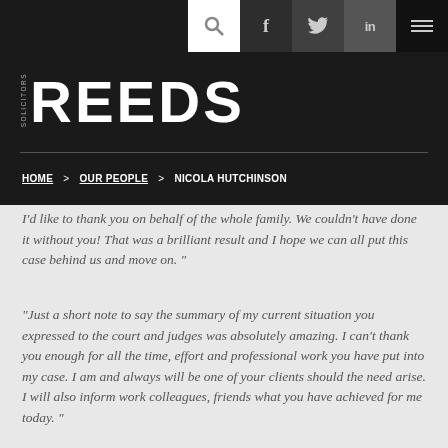[Figure (logo): Reeds Solicitors logo — white bold REEDS text with small vertical SOLICITORS text on dark background]
HOME > OUR PEOPLE > NICOLA HUTCHINSON
I'd like to thank you on behalf of the whole family. We couldn't have done it without you! That was a brilliant result and I hope we can all put this case behind us and move on. "
"Just a short note to say the summary of my current situation you expressed to the court and judges was absolutely amazing. I can't thank you enough for all the time, effort and professional work you have put into my case. I am and always will be one of your clients should the need arise. I will also inform work colleagues, friends what you have achieved for me today. "